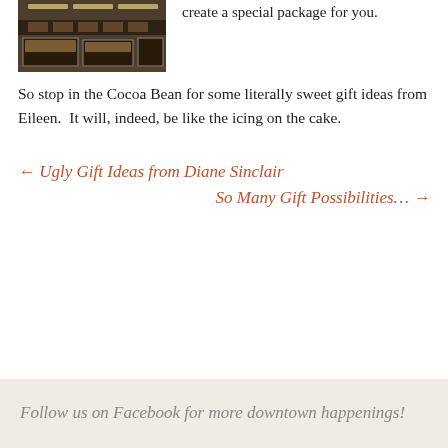[Figure (photo): Interior of a store or shop, showing display cases and shelving in a dimly lit retail environment.]
create a special package for you.
So stop in the Cocoa Bean for some literally sweet gift ideas from Eileen.  It will, indeed, be like the icing on the cake.
← Ugly Gift Ideas from Diane Sinclair
So Many Gift Possibilities… →
Follow us on Facebook for more downtown happenings!